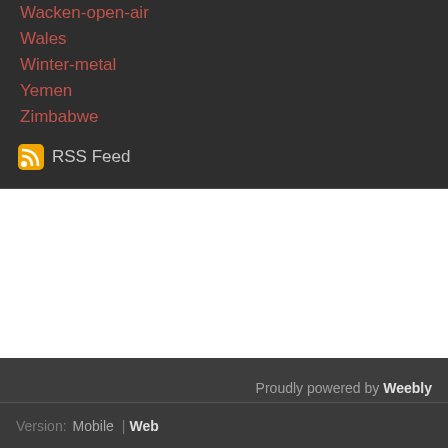Wacken-open-air
Wales
Winter-metal
Yemen
Zimbabwe
RSS Feed
Proudly powered by Weebly
Version: Mobile | Web